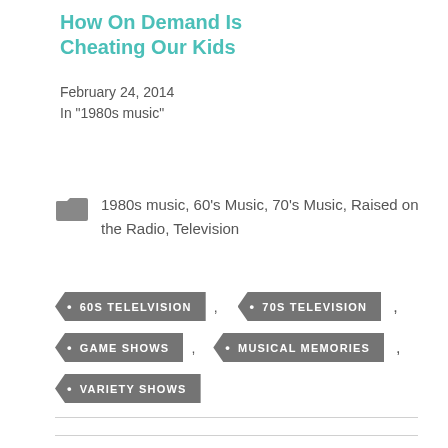How On Demand Is Cheating Our Kids
February 24, 2014
In "1980s music"
1980s music, 60's Music, 70's Music, Raised on the Radio, Television
60S TELELVISION
70S TELEVISION
GAME SHOWS
MUSICAL MEMORIES
VARIETY SHOWS